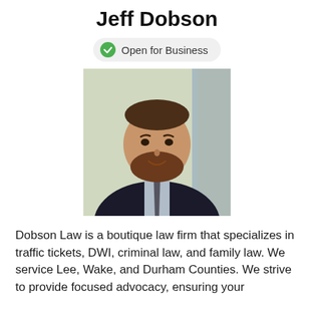Jeff Dobson
Open for Business
[Figure (photo): Professional headshot of Jeff Dobson, a man with a beard wearing a dark suit and tie, photographed in front of a blurred background.]
Dobson Law is a boutique law firm that specializes in traffic tickets, DWI, criminal law, and family law. We service Lee, Wake, and Durham Counties. We strive to provide focused advocacy, ensuring your